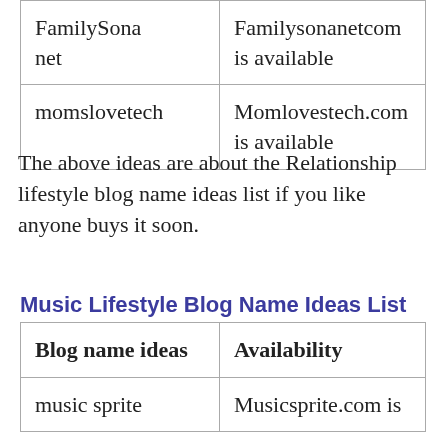| FamilySona net | Familysonanetcom is available |
| momslovetech | Momlovestech.com is available |
The above ideas are about the Relationship lifestyle blog name ideas list if you like anyone buys it soon.
Music Lifestyle Blog Name Ideas List
| Blog name ideas | Availability |
| --- | --- |
| music sprite | Musicsprite.com is |